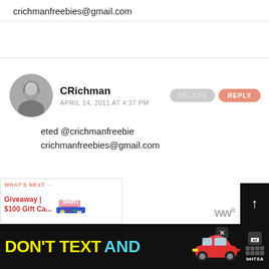crichmanfreebies@gmail.com
CRichman
APRIL 14, 2011 AT 4:37 PM
eted @crichmanfreebie
crichmanfreebies@gmail.com
[Figure (infographic): Bottom promotional banner: WHAT'S NEXT arrow, Giveaway | $100 Gift Ca... with a shirt image]
[Figure (screenshot): Dark banner ad: DON'T TEXT AND [car image] with NHTSA logo and close button]